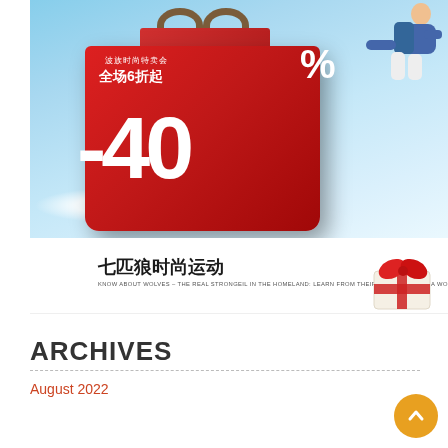[Figure (illustration): Chinese fashion sale advertisement showing a large red shopping bag with '-40%' and Chinese text '全场6折起' (40% off sale), a jumping man in upper right corner, blue sky background]
[Figure (logo): 七匹狼时尚运动 (Septwolves Fashion Sports) brand logo with Chinese and English text, accompanied by a gift box with red ribbon on the right]
ARCHIVES
August 2022